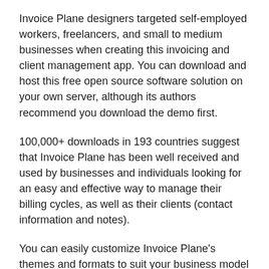Invoice Plane designers targeted self-employed workers, freelancers, and small to medium businesses when creating this invoicing and client management app. You can download and host this free open source software solution on your own server, although its authors recommend you download the demo first.
100,000+ downloads in 193 countries suggest that Invoice Plane has been well received and used by businesses and individuals looking for an easy and effective way to manage their billing cycles, as well as their clients (contact information and notes).
You can easily customize Invoice Plane’s themes and formats to suit your business model and workflow needs. Invoice Plane is multilingual, with more languages continually being added, and is integrated with 25 payment providers including PayPal and Stripe.